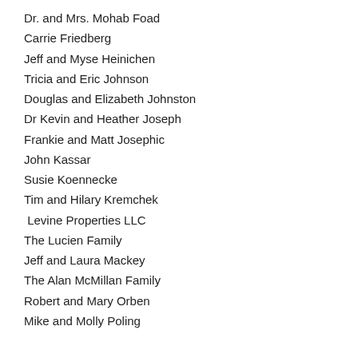Dr. and Mrs. Mohab Foad
Carrie Friedberg
Jeff and Myse Heinichen
Tricia and Eric Johnson
Douglas and Elizabeth Johnston
Dr Kevin and Heather Joseph
Frankie and Matt Josephic
John Kassar
Susie Koennecke
Tim and Hilary Kremchek
Levine Properties LLC
The Lucien Family
Jeff and Laura Mackey
The Alan McMillan Family
Robert and Mary Orben
Mike and Molly Poling